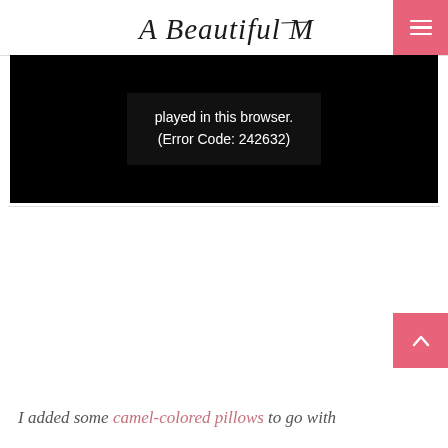A Beautiful Mess
[Figure (screenshot): Video player error message on black background reading: played in this browser. (Error Code: 242632)]
I added some camel-colored pillows to go with